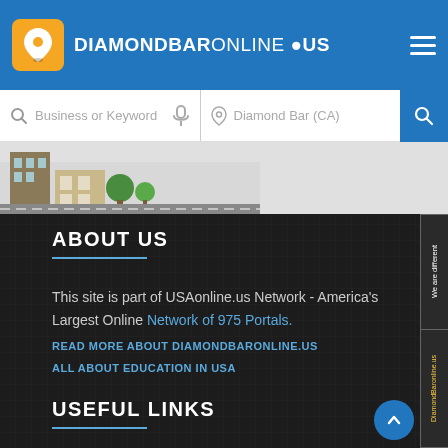DIAMONDBARONLINE.US
[Figure (screenshot): Search bar with Business or Keyword and Diamond Bar (CA) location fields]
[Figure (illustration): Illustration strip showing buildings/storefronts]
ABOUT US
This site is part of USAonline.us Network - America's Largest Online Network of 975 Portals.
READ MORE ABOUT DIAMONDBARONLINE.US
ALL ABOUT EDUCATION IN USA
USEFUL LINKS